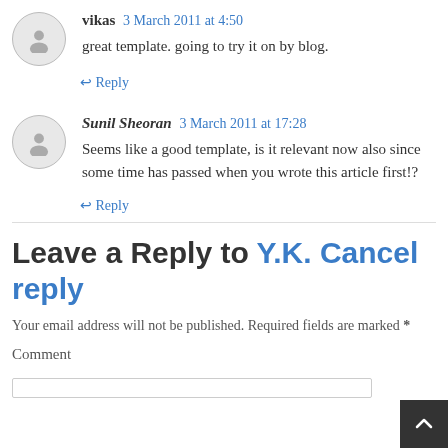vikas 3 March 2011 at 4:50
great template. going to try it on by blog.
← Reply
Sunil Sheoran 3 March 2011 at 17:28
Seems like a good template, is it relevant now also since some time has passed when you wrote this article first!?
← Reply
Leave a Reply to Y.K. Cancel reply
Your email address will not be published. Required fields are marked *
Comment